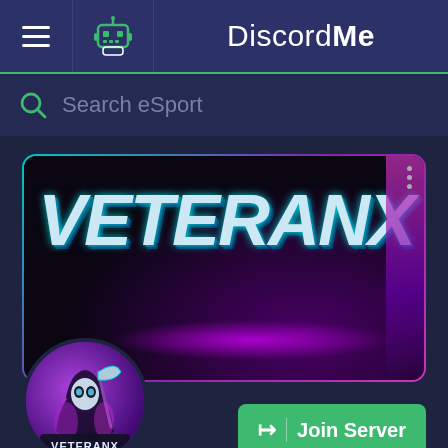DiscordMe
Search eSport
[Figure (screenshot): VETERANX Discord server banner with large icy block letters spelling VETERANX on dark background with purple and teal accents, with a circular server icon showing a reaper character and VETERANX text at the bottom]
Join Server